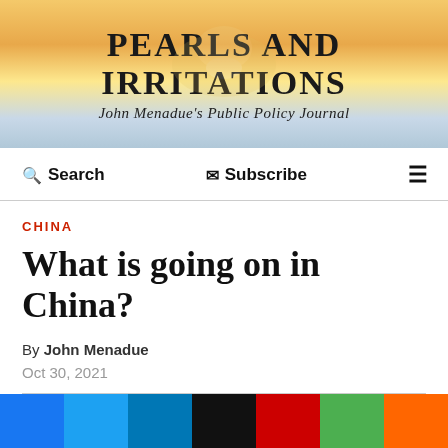[Figure (illustration): Pearls and Irritations banner header with sunset/ocean gradient background and pearl shell image. Title reads PEARLS AND IRRITATIONS. Subtitle reads John Menadue's Public Policy Journal.]
PEARLS AND IRRITATIONS
John Menadue's Public Policy Journal
Search   Subscribe   ≡
CHINA
What is going on in China?
By John Menadue
Oct 30, 2021
(Image: Unsplash)
Has China gone from a ...